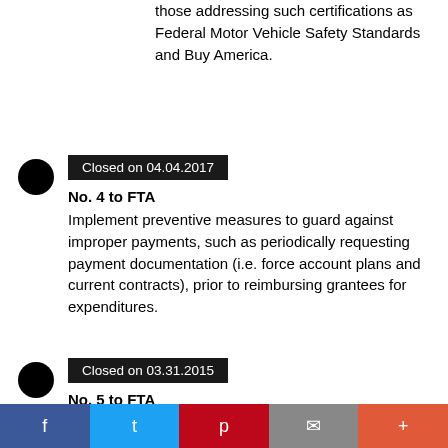those addressing such certifications as Federal Motor Vehicle Safety Standards and Buy America.
Closed on 04.04.2017
No. 4 to FTA
Implement preventive measures to guard against improper payments, such as periodically requesting payment documentation (i.e. force account plans and current contracts), prior to reimbursing grantees for expenditures.
Closed on 03.31.2015
No. 5 to FTA
Implement controls governing payments to
f  t  p  mail  +